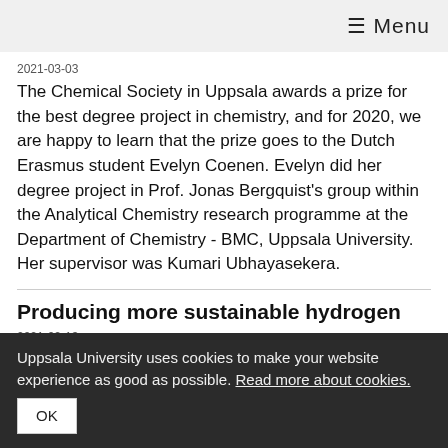≡ Menu
2021-03-03
The Chemical Society in Uppsala awards a prize for the best degree project in chemistry, and for 2020, we are happy to learn that the prize goes to the Dutch Erasmus student Evelyn Coenen. Evelyn did her degree project in Prof. Jonas Bergquist's group within the Analytical Chemistry research programme at the Department of Chemistry - BMC, Uppsala University. Her supervisor was Kumari Ubhayasekera.
Producing more sustainable hydrogen
2021-02-13
Uppsala University uses cookies to make your website experience as good as possible. Read more about cookies.